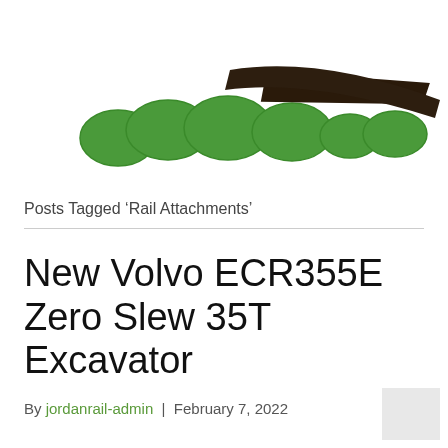[Figure (logo): Partial logo with green rounded hills/bumps and a dark brown diagonal shape on white background]
Posts Tagged ‘Rail Attachments’
New Volvo ECR355E Zero Slew 35T Excavator
By jordanrail-admin | February 7, 2022